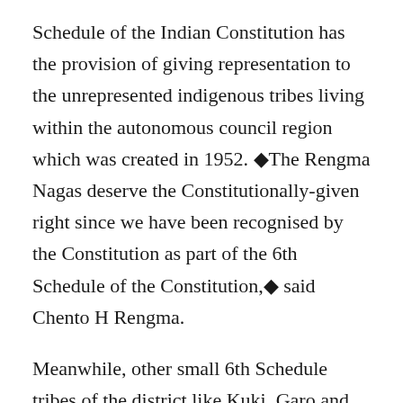Schedule of the Indian Constitution has the provision of giving representation to the unrepresented indigenous tribes living within the autonomous council region which was created in 1952. ◆The Rengma Nagas deserve the Constitutionally-given right since we have been recognised by the Constitution as part of the 6th Schedule of the Constitution,◆ said Chento H Rengma.
Meanwhile, other small 6th Schedule tribes of the district like Kuki, Garo and Khasi Pnar have also demanded their share in the KAAC on the grounds that they are not in a position to send elected representatives to the council.
It is learnt from a reliable source that KAAC Chief Executive Member Joy Ram Engleng has already prepared a list of representatives from Bengali, Tea Tribe,